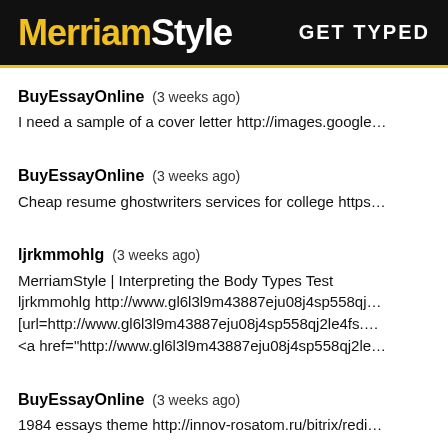MerriamStyle — GET TYPED
BuyEssayOnline (3 weeks ago)
I need a sample of a cover letter http://images.google…
BuyEssayOnline (3 weeks ago)
Cheap resume ghostwriters services for college https…
ljrkmmohlg (3 weeks ago)
MerriamStyle | Interpreting the Body Types Test ljrkmmohlg http://www.gl6l3l9m43887eju08j4sp558qj… [url=http://www.gl6l3l9m43887eju08j4sp558qj2le4fs.… <a href="http://www.gl6l3l9m43887eju08j4sp558qj2le…
BuyEssayOnline (3 weeks ago)
1984 essays theme http://innov-rosatom.ru/bitrix/redi…
BuyEssayOnline (3 weeks ago)
Business career services resume tips http://qooh.me…